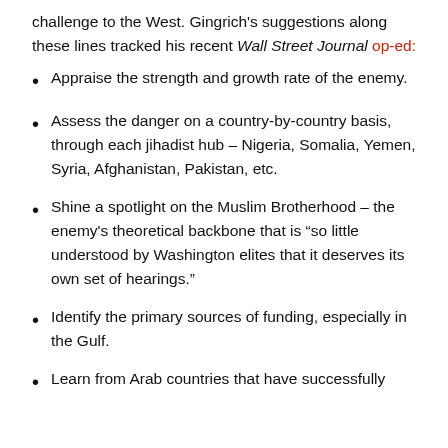challenge to the West. Gingrich's suggestions along these lines tracked his recent Wall Street Journal op-ed:
Appraise the strength and growth rate of the enemy.
Assess the danger on a country-by-country basis, through each jihadist hub – Nigeria, Somalia, Yemen, Syria, Afghanistan, Pakistan, etc.
Shine a spotlight on the Muslim Brotherhood – the enemy's theoretical backbone that is “so little understood by Washington elites that it deserves its own set of hearings.”
Identify the primary sources of funding, especially in the Gulf.
Learn from Arab countries that have successfully